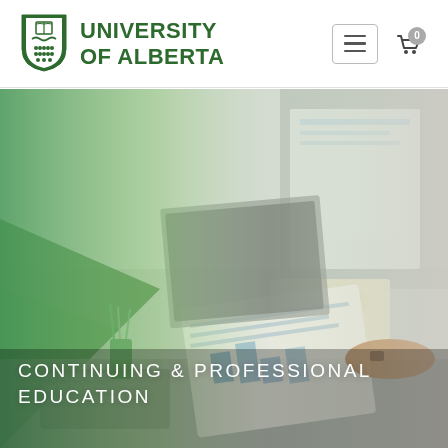[Figure (logo): University of Alberta shield logo in green with book and wave motifs]
UNIVERSITY OF ALBERTA
[Figure (photo): Business professionals working at a desk with laptops, tablets, and documents; blurred background with green overlay on left side]
CONTINUING & PROFESSIONAL EDUCATION